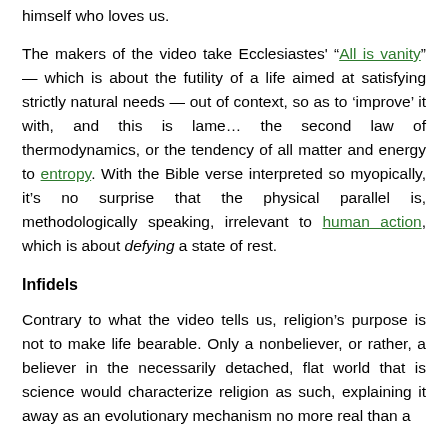himself who loves us.
The makers of the video take Ecclesiastes' “All is vanity” — which is about the futility of a life aimed at satisfying strictly natural needs — out of context, so as to ‘improve’ it with, and this is lame… the second law of thermodynamics, or the tendency of all matter and energy to entropy. With the Bible verse interpreted so myopically, it’s no surprise that the physical parallel is, methodologically speaking, irrelevant to human action, which is about defying a state of rest.
Infidels
Contrary to what the video tells us, religion’s purpose is not to make life bearable. Only a nonbeliever, or rather, a believer in the necessarily detached, flat world that is science would characterize religion as such, explaining it away as an evolutionary mechanism no more real than a